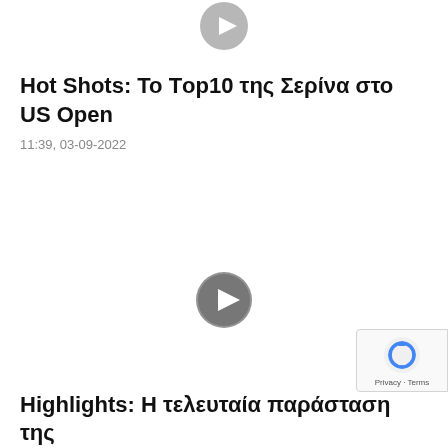[Figure (other): Play button icon (grey circle with white triangle) at top center]
Hot Shots: Το Τop10 της Σερίνα στο US Open
11:39, 03-09-2022
[Figure (other): Play button icon (grey circle with white triangle) in middle of page]
[Figure (other): reCAPTCHA badge with Privacy - Terms text]
Highlights: Η τελευταία παράσταση της